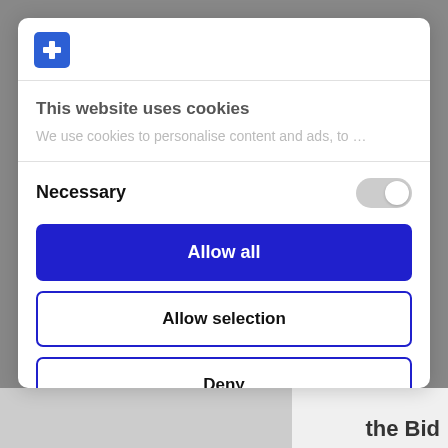[Figure (logo): Blue square with white cross/plus icon - Cookiebot logo]
This website uses cookies
We use cookies to personalise content and ads, to ...
Necessary
Allow all
Allow selection
Deny
Powered by Cookiebot by Usercentrics